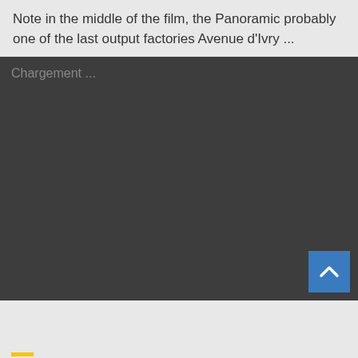Note in the middle of the film, the Panoramic probably one of the last output factories Avenue d'Ivry ...
[Figure (screenshot): Dark video player area with 'Chargement ...' loading text in the upper left corner and a blue scroll-to-top button with a caret/chevron icon in the lower right corner.]